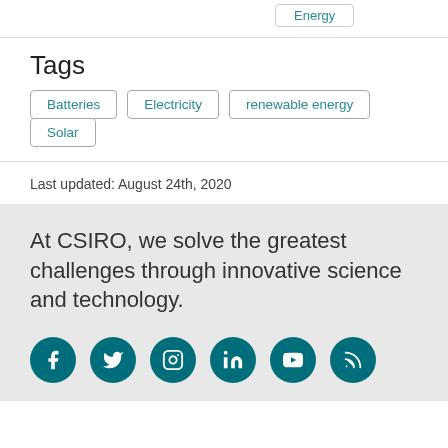Energy
Tags
Batteries
Electricity
renewable energy
Solar
Last updated: August 24th, 2020
At CSIRO, we solve the greatest challenges through innovative science and technology.
[Figure (other): Social media icons: Facebook, Twitter, Instagram, LinkedIn, YouTube, RSS feed — circular teal buttons]